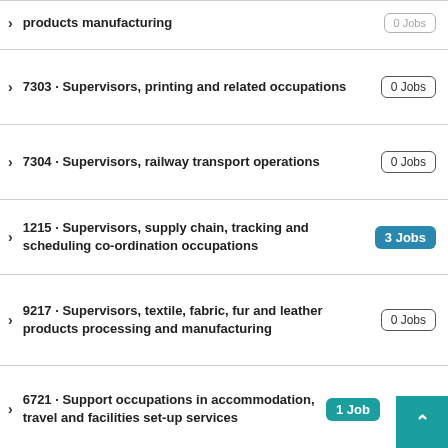products manufacturing · 0 Jobs
7303 · Supervisors, printing and related occupations · 0 Jobs
7304 · Supervisors, railway transport operations · 0 Jobs
1215 · Supervisors, supply chain, tracking and scheduling co-ordination occupations · 3 Jobs
9217 · Supervisors, textile, fabric, fur and leather products processing and manufacturing · 0 Jobs
6721 · Support occupations in accommodation, travel and facilities set-up services · 1 Job
5227 · Support occupations in motion